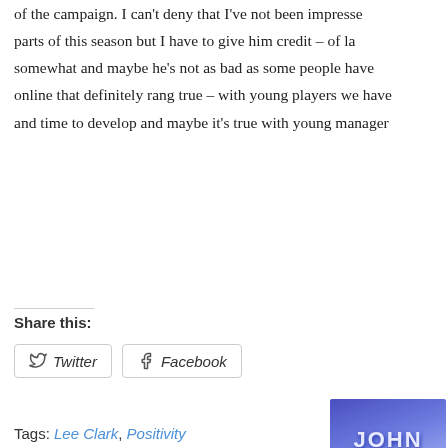of the campaign. I can't deny that I've not been impressed parts of this season but I have to give him credit – of la somewhat and maybe he's not as bad as some people have online that definitely rang true – with young players we have and time to develop and maybe it's true with young manager
Share this:
[Figure (logo): John Hicken Industrial Roofing & Cladding Materials logo — blue/purple gradient background with bold white text 'JOHN HICKEN' and subtitle 'INDUSTRIAL ROOFING & CLADDING MATERIALS' in dark text on white background at bottom.]
Tags: Lee Clark, Positivity